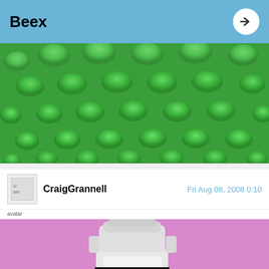Beex
[Figure (photo): Close-up photo of green LEGO baseplate studs]
CraigGrannell
Fri Aug 08, 2008 0:10
avatar
[Figure (photo): LEGO minifigure with white robot-style head/helmet against a pink background, with a yellow hand visible]